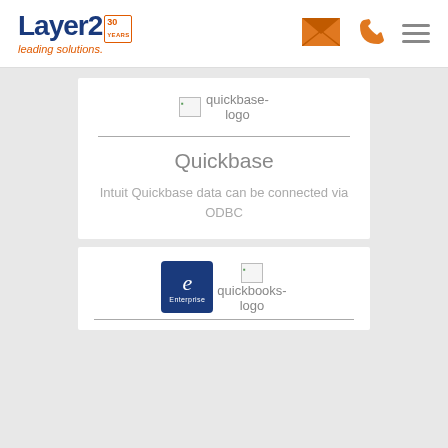[Figure (logo): Layer2 leading solutions logo with 30 years badge in blue and orange]
[Figure (infographic): Orange envelope icon for email contact]
[Figure (infographic): Orange phone icon for phone contact]
[Figure (infographic): Menu hamburger icon in gray]
[Figure (logo): Broken image placeholder for quickbase-logo]
Quickbase
Intuit Quickbase data can be connected via ODBC
[Figure (logo): Enterprise icon (dark blue square with italic e and Enterprise label) and broken image placeholder for quickbooks-logo]